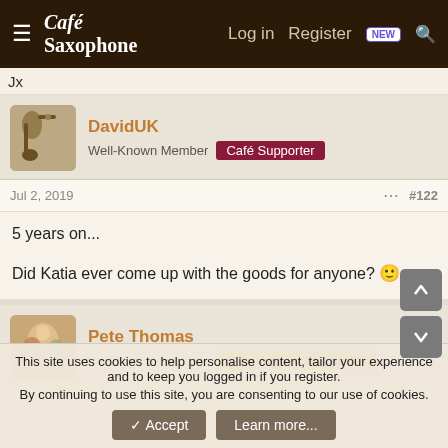Café Saxophone — Log in  Register  NEW  Search
Jx
DavidUK
Well-Known Member  Café Supporter
Jul 2, 2019  #122
5 years on...

Did Katia ever come up with the goods for anyone? 🙂
Pete Thomas
Well-Known Member  Commercial Supporter
This site uses cookies to help personalise content, tailor your experience and to keep you logged in if you register.
By continuing to use this site, you are consenting to our use of cookies.